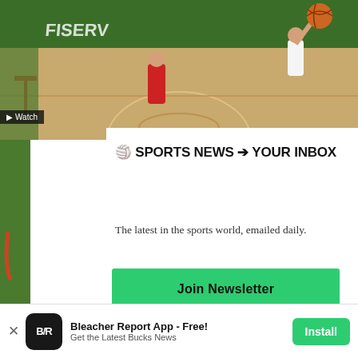[Figure (photo): Basketball game photo showing players near the basket on a green court (Milwaukee Bucks arena)]
🏀 SPORTS NEWS ➡ YOUR INBOX
The latest in the sports world, emailed daily.
Join Newsletter
Maybe Later
With ta
Milwa
B/R Re
Bleacher Report App - Free! Get the Latest Bucks News